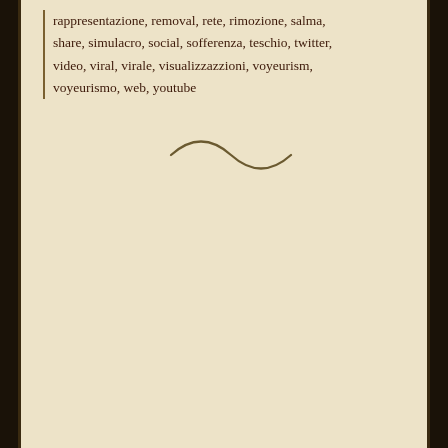rappresentazione, removal, rete, rimozione, salma, share, simulacro, social, sofferenza, teschio, twitter, video, viral, virale, visualizzazzioni, voyeurism, voyeurismo, web, youtube
[Figure (illustration): A decorative tilde or swash ornament in dark brown/olive color, used as a section divider]